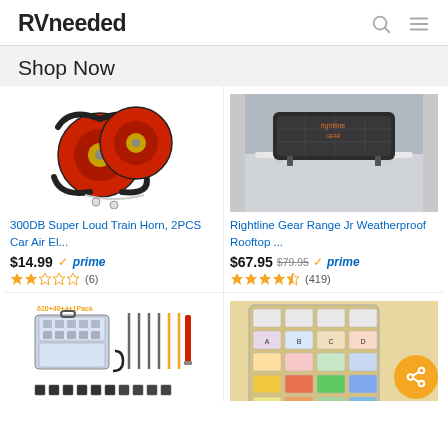RVneeded
Shop Now
[Figure (photo): Two red circular car air horns with black fittings and connectors]
300DB Super Loud Train Horn, 2PCS Car Air El...
$14.99 prime (6 reviews, ~2 stars)
[Figure (photo): Black weatherproof rooftop cargo bag (Rightline Gear) on a car roof rack]
Rightline Gear Range Jr Weatherproof Rooftop ...
$67.95 $79.95 prime (419 reviews, ~4.5 stars)
[Figure (photo): 620+40+4+1 Pack car clips/push pins organizer kit with plastic case and tools]
[Figure (photo): Assorted automotive blade fuses in a plastic organizer case with multiple compartments]